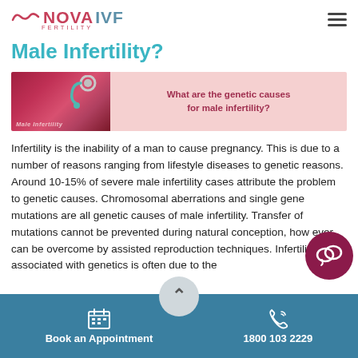NOVA IVF FERTILITY
Male Infertility?
[Figure (photo): Photo of a stethoscope on a red card reading 'Male Infertility' with the text 'What are the genetic causes for male infertility?' on a pink background banner]
Infertility is the inability of a man to cause pregnancy. This is due to a number of reasons ranging from lifestyle diseases to genetic reasons. Around 10-15% of severe male infertility cases attribute the problem to genetic causes. Chromosomal aberrations and single gene mutations are all genetic causes of male infertility. Transfer of mutations cannot be prevented during natural conception, however can be overcome by assisted reproduction techniques. Infertility associated with genetics is often due to the
Book an Appointment    1800 103 2229